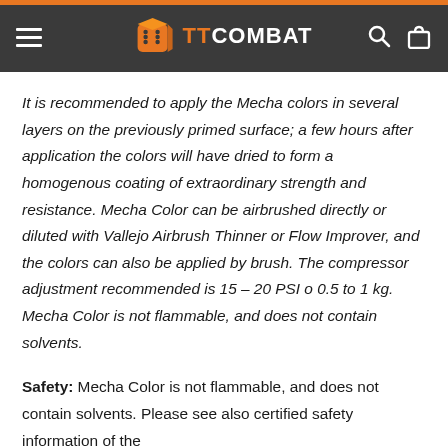TTCOMBAT
It is recommended to apply the Mecha colors in several layers on the previously primed surface; a few hours after application the colors will have dried to form a homogenous coating of extraordinary strength and resistance. Mecha Color can be airbrushed directly or diluted with Vallejo Airbrush Thinner or Flow Improver, and the colors can also be applied by brush. The compressor adjustment recommended is 15 – 20 PSI o 0.5 to 1 kg.
Mecha Color is not flammable, and does not contain solvents.
Safety: Mecha Color is not flammable, and does not contain solvents. Please see also certified safety information of the